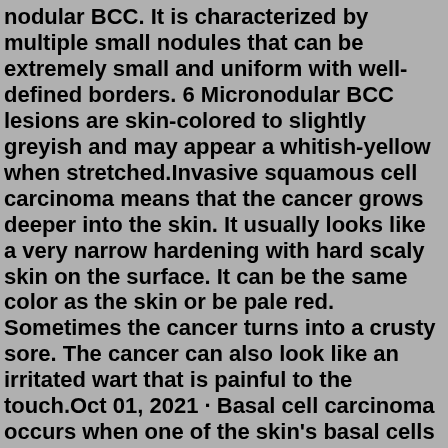nodular BCC. It is characterized by multiple small nodules that can be extremely small and uniform with well-defined borders. 6 Micronodular BCC lesions are skin-colored to slightly greyish and may appear a whitish-yellow when stretched.Invasive squamous cell carcinoma means that the cancer grows deeper into the skin. It usually looks like a very narrow hardening with hard scaly skin on the surface. It can be the same color as the skin or be pale red. Sometimes the cancer turns into a crusty sore. The cancer can also look like an irritated wart that is painful to the touch.Oct 01, 2021 · Basal cell carcinoma occurs when one of the skin's basal cells develops a mutation in its DNA. Basal cells are found at the bottom of the epidermis — the outermost layer of skin. Basal cells produce new skin cells. As new skin cells are produced, they push older cells toward the skin's surface, where the old cells die and are sloughed off. Mar 01, 2014 · Basal cell carcinoma (BCC) is the most commonly diagnosed skin cancer. Although most BCCs are indolent, metastases occur in rare cases... Because